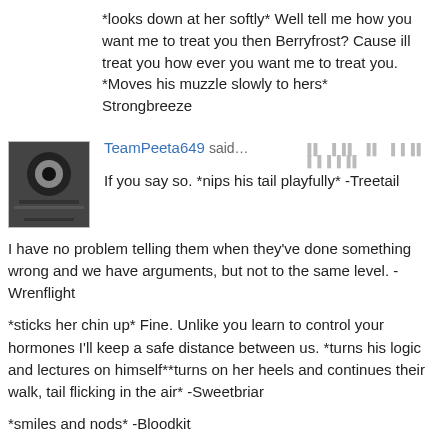*looks down at her softly* Well tell me how you want me to treat you then Berryfrost? Cause ill treat you how ever you want me to treat you. *Moves his muzzle slowly to hers* Strongbreeze
[Figure (photo): Avatar image of TeamPeeta649 - black and white photo]
TeamPeeta649 said… [timestamp icons]
If you say so. *nips his tail playfully* -Treetail

I have no problem telling them when they've done something wrong and we have arguments, but not to the same level. -Wrenflight

*sticks her chin up* Fine. Unlike you learn to control your hormones I'll keep a safe distance between us. *turns his logic and lectures on himself**turns on her heels and continues their walk, tail flicking in the air* -Sweetbriar

*smiles and nods* -Bloodkit